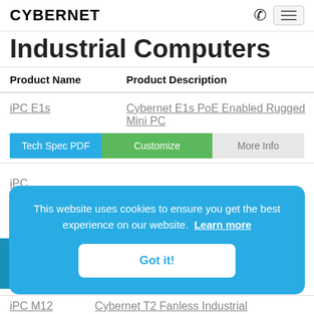CYBERNET
Industrial Computers
| Product Name | Product Description |
| --- | --- |
| iPC E1s | Cybernet E1s PoE Enabled Rugged Mini PC |
| iPC [partially visible] | [partially visible] |
| iPC M12 | Cybernet T2 Fanless Industrial [cropped] |
This website uses cookies to ensure you get the best experience on our website. Learn more
Got it!